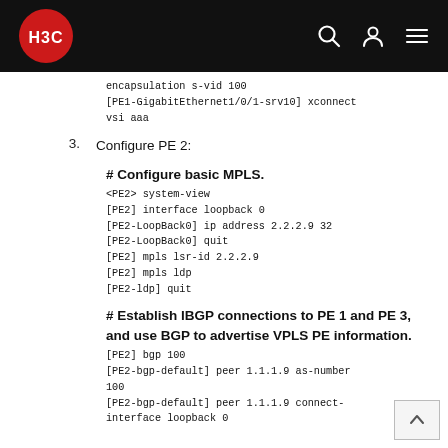H3C logo and navigation header
encapsulation s-vid 100
[PE1-GigabitEthernet1/0/1-srv10] xconnect
vsi aaa
3.   Configure PE 2:
# Configure basic MPLS.
<PE2> system-view
[PE2] interface loopback 0
[PE2-LoopBack0] ip address 2.2.2.9 32
[PE2-LoopBack0] quit
[PE2] mpls lsr-id 2.2.2.9
[PE2] mpls ldp
[PE2-ldp] quit
# Establish IBGP connections to PE 1 and PE 3, and use BGP to advertise VPLS PE information.
[PE2] bgp 100
[PE2-bgp-default] peer 1.1.1.9 as-number 100
[PE2-bgp-default] peer 1.1.1.9 connect-interface loopback 0